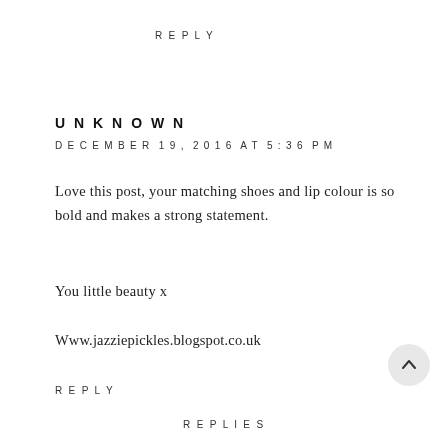REPLY
UNKNOWN
DECEMBER 19, 2016 AT 5:36 PM
Love this post, your matching shoes and lip colour is so bold and makes a strong statement.

You little beauty x

Www.jazziepickles.blogspot.co.uk
REPLY
REPLIES